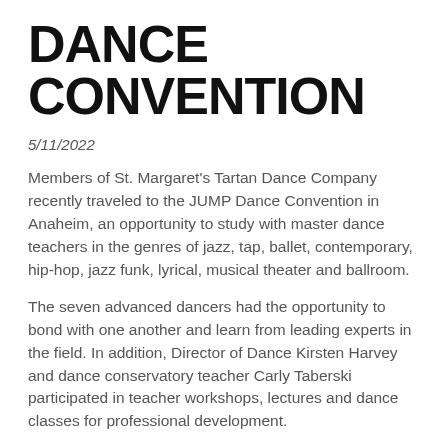DANCE CONVENTION
5/11/2022
Members of St. Margaret's Tartan Dance Company recently traveled to the JUMP Dance Convention in Anaheim, an opportunity to study with master dance teachers in the genres of jazz, tap, ballet, contemporary, hip-hop, jazz funk, lyrical, musical theater and ballroom.
The seven advanced dancers had the opportunity to bond with one another and learn from leading experts in the field. In addition, Director of Dance Kirsten Harvey and dance conservatory teacher Carly Taberski participated in teacher workshops, lectures and dance classes for professional development.